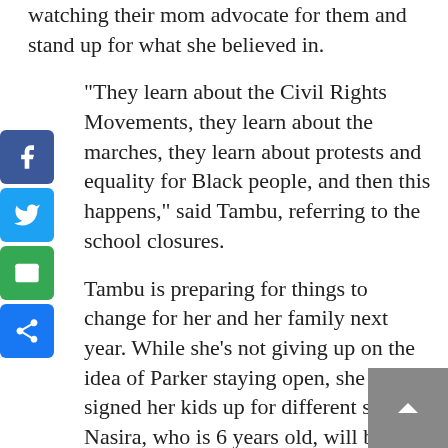watching their mom advocate for them and stand up for what she believed in.
“They learn about the Civil Rights Movements, they learn about the marches, they learn about protests and equality for Black people, and then this happens,” said Tambu, referring to the school closures.
Tambu is preparing for things to change for her and her family next year. While she’s not giving up on the idea of Parker staying open, she has signed her kids up for different schools. Nasira, who is 6 years old, will be starting second grade at Lockwood Elementary, and Samira, who is 11, will be starting sixth grade at Coliseum College Prep Academy.
OUSD communications Director John Sasaki said all Parker students have a designated school for next year and that the district was able to contact 77% of parents. Of the families who submitted forms